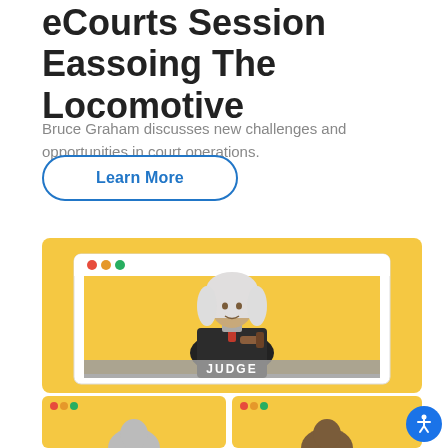eCourts Session Eassoing The Locomotive
Bruce Graham discusses new challenges and opportunities in court operations.
Learn More
[Figure (illustration): Illustration of a judge in black robes and white wig holding a gavel, shown in a browser window UI with red, orange, and green dots, on a yellow background. A label at the bottom reads JUDGE.]
[Figure (illustration): Two partial browser window panels at the bottom of the page, each showing a person's avatar on a yellow background.]